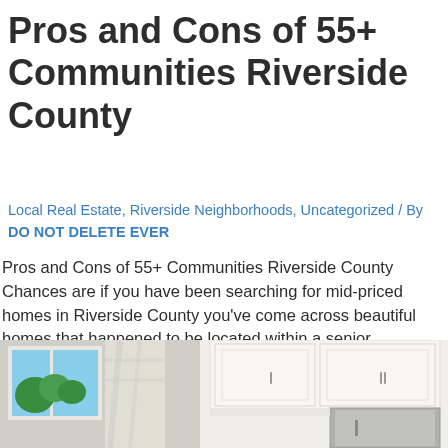Pros and Cons of 55+ Communities Riverside County
Local Real Estate, Riverside Neighborhoods, Uncategorized / By DO NOT DELETE EVER
Pros and Cons of 55+ Communities Riverside County Chances are if you have been searching for mid-priced homes in Riverside County you've come across beautiful homes that happened to be located within a senior community. There are over 30 senior communities in the Inland Empire area. Especially in South Riverside County, there are tons of …
Read More »
[Figure (photo): Interior photo showing a bright room with large windows on the left revealing green trees and blue sky, and white kitchen cabinets with a stainless steel appliance on the right.]